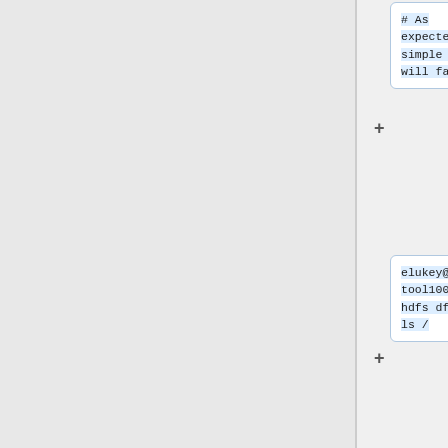# As expected, a simple ls will fail
elukey@an-tool1006:~$ hdfs dfs -ls /
[..cut..]
java.io.IOException: Failed on local exception: java.io.IOException: javax.security.sasl.SaslException: